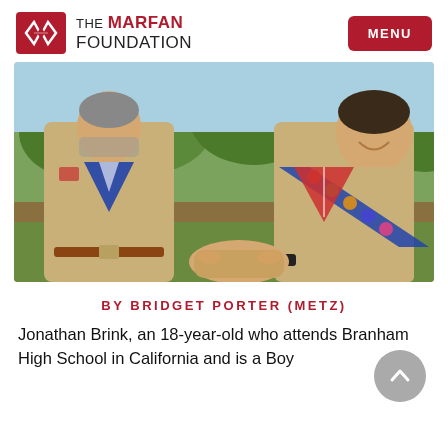THE MARFAN FOUNDATION | MENU
[Figure (photo): Two people in Boy Scout uniforms shaking hands outdoors in a park setting with trees in the background.]
BY BRIDGET PORTER (METZ)
Jonathan Brink, an 18-year-old who attends Branham High School in California and is a Boy